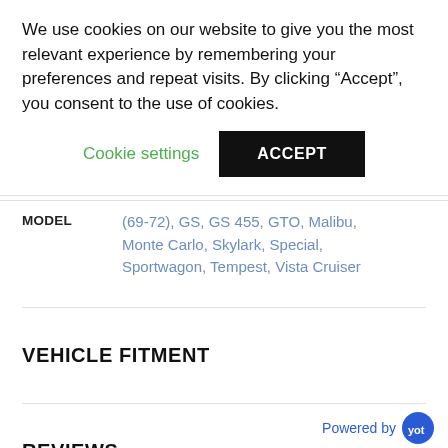We use cookies on our website to give you the most relevant experience by remembering your preferences and repeat visits. By clicking “Accept”, you consent to the use of cookies.
Cookie settings
ACCEPT
| MODEL |  |
| --- | --- |
| MODEL | (69-72), GS, GS 455, GTO, Malibu, Monte Carlo, Skylark, Special, Sportwagon, Tempest, Vista Cruiser |
VEHICLE FITMENT
REVIEWS
Powered by